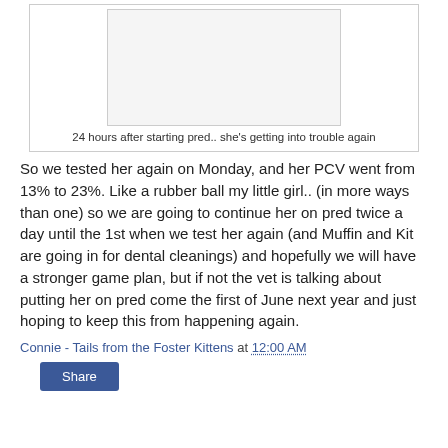[Figure (photo): Photo placeholder showing a cat getting into trouble, appears as a white/light gray box]
24 hours after starting pred.. she's getting into trouble again
So we tested her again on Monday, and her PCV went from 13% to 23%.  Like a rubber ball my little girl.. (in more ways than one) so we are going to continue her on pred twice a day until the 1st when we test her again (and Muffin and Kit are going in for dental cleanings) and hopefully we will have a stronger game plan, but if not the vet is talking about putting her on pred come the first of June next year and just hoping to keep this from happening again.
Connie - Tails from the Foster Kittens at 12:00 AM
Share